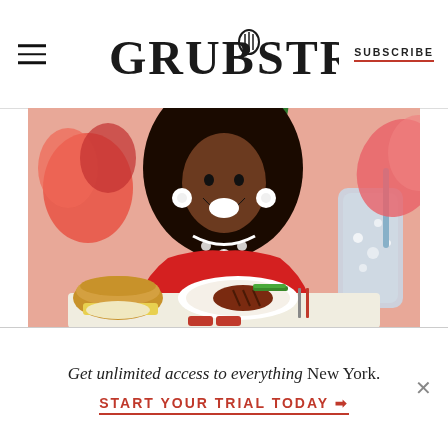GRUB STREET | SUBSCRIBE
[Figure (illustration): Illustrated woman in red off-shoulder dress with large natural hair, wearing diamond jewelry, sitting at a table with a steak dinner, biscuit, cheese, and a sparkling drink. Decorative floral background.]
Get unlimited access to everything New York.
START YOUR TRIAL TODAY »